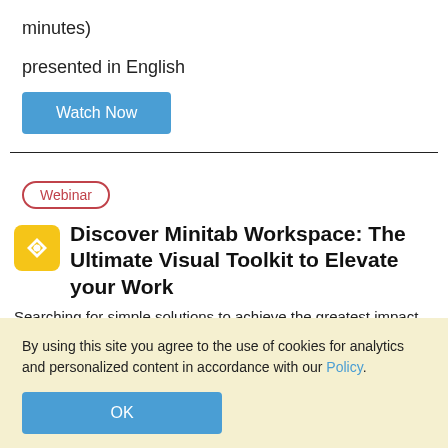minutes)
presented in English
Watch Now
Webinar
Discover Minitab Workspace: The Ultimate Visual Toolkit to Elevate your Work
Searching for simple solutions to achieve the greatest impact with your work? Minitab Workspace enables you to move work forward with powerful
By using this site you agree to the use of cookies for analytics and personalized content in accordance with our Policy.
OK